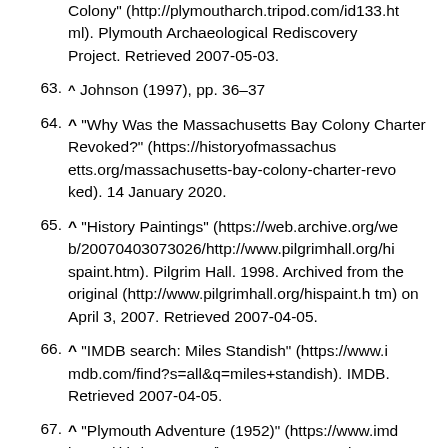Colony" (http://plymoutharch.tripod.com/id133.html). Plymouth Archaeological Rediscovery Project. Retrieved 2007-05-03.
63. ^ Johnson (1997), pp. 36–37
64. ^ "Why Was the Massachusetts Bay Colony Charter Revoked?" (https://historyofmassachusetts.org/massachusetts-bay-colony-charter-revoked). 14 January 2020.
65. ^ "History Paintings" (https://web.archive.org/web/20070403073026/http://www.pilgrimhall.org/hispaint.htm). Pilgrim Hall. 1998. Archived from the original (http://www.pilgrimhall.org/hispaint.htm) on April 3, 2007. Retrieved 2007-04-05.
66. ^ "IMDB search: Miles Standish" (https://www.imdb.com/find?s=all&q=miles+standish). IMDB. Retrieved 2007-04-05.
67. ^ "Plymouth Adventure (1952)" (https://www.imdb.com/title/tt0045039/). IMDB. 28 November